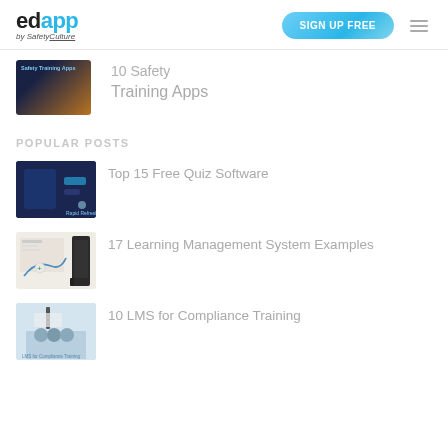edapp by SafetyCulture | SIGN UP FREE
10 Safety Training Apps
POPULAR POSTS
Top 15 Free Quiz Software
17 Learning Management System Examples
10 LMS for Compliance Training